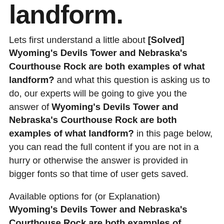landform.
Lets first understand a little about [Solved] Wyoming's Devils Tower and Nebraska's Courthouse Rock are both examples of what landform? and what this question is asking us to do, our experts will be going to give you the answer of Wyoming's Devils Tower and Nebraska's Courthouse Rock are both examples of what landform? in this page below, you can read the full content if you are not in a hurry or otherwise the answer is provided in bigger fonts so that time of user gets saved.
Available options for (or Explanation) Wyoming's Devils Tower and Nebraska's Courthouse Rock are both examples of